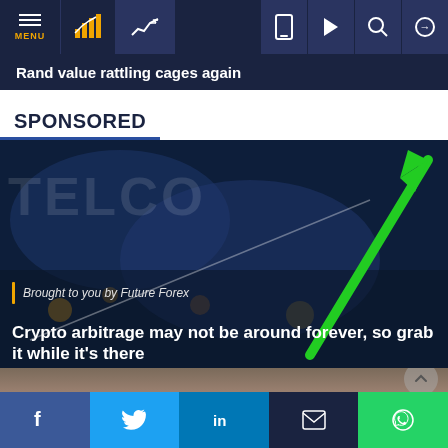MENU | [chart icons] | [navigation icons]
Rand value rattling cages again
SPONSORED
[Figure (photo): Sponsored article image showing 'TELCO' text background with a large green upward arrow, dark blue overlay. Byline 'Brought to you by Future Forex'. Headline: 'Crypto arbitrage may not be around forever, so grab it while it's there']
[Figure (photo): Partial view of a person's head (blond/grey hair), partial photo strip at the bottom]
f  [twitter]  in  [email]  [whatsapp]